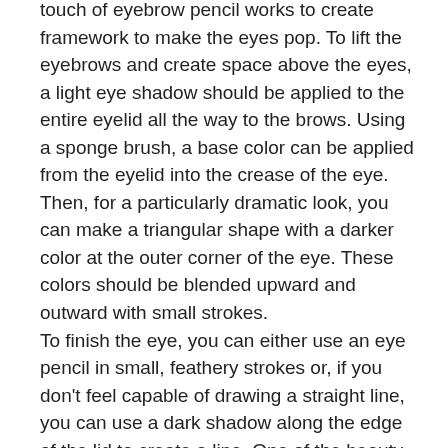touch of eyebrow pencil works to create framework to make the eyes pop. To lift the eyebrows and create space above the eyes, a light eye shadow should be applied to the entire eyelid all the way to the brows. Using a sponge brush, a base color can be applied from the eyelid into the crease of the eye. Then, for a particularly dramatic look, you can make a triangular shape with a darker color at the outer corner of the eye. These colors should be blended upward and outward with small strokes.
To finish the eye, you can either use an eye pencil in small, feathery strokes or, if you don't feel capable of drawing a straight line, you can use a dark shadow along the edge of the lid to create a line. One of the beauty cosmetic tips suggested by experts is to line only half of the area under the eye from the corner back toward the center. This makes the eyes look significantly larger. A coat of mascara is the perfect finishing touch. Beauty cosmetics used on lips and cheeks add youthful vitality. A lip liner keeps lip color from feathering into the lines around the mouth but should blend well with the lipstick. Cheek color should begin on the apples of the